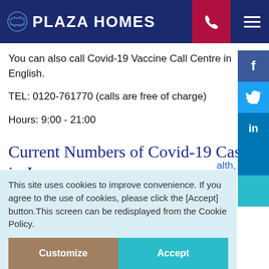PLAZA HOMES
You can also call Covid-19 Vaccine Call Centre in English.
TEL: 0120-761770 (calls are free of charge)
Hours: 9:00 - 21:00
Current Numbers of Covid-19 Cases in Japan
This site uses cookies to improve convenience. If you agree to the use of cookies, please click the [Accept] button.This screen can be redisplayed from the Cookie Policy.